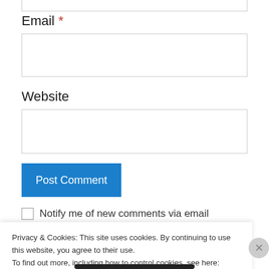Email *
Website
Post Comment
Notify me of new comments via email
Privacy & Cookies: This site uses cookies. By continuing to use this website, you agree to their use.
To find out more, including how to control cookies, see here: Cookie Policy
Close and accept